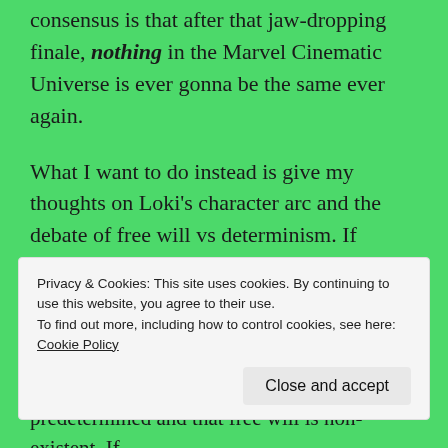consensus is that after that jaw-dropping finale, nothing in the Marvel Cinematic Universe is ever gonna be the same ever again.
What I want to do instead is give my thoughts on Loki's character arc and the debate of free will vs determinism. If there's anything that we can learn from Variant-Loki, it's that a person's purpose isn't limited to what other people say. When given the right motivation, even the worst people can learn to love themselves, find the conviction to do the right thing, and discover their own
Privacy & Cookies: This site uses cookies. By continuing to use this website, you agree to their use.
To find out more, including how to control cookies, see here: Cookie Policy
Close and accept
predetermined and that free will is non-existent. If